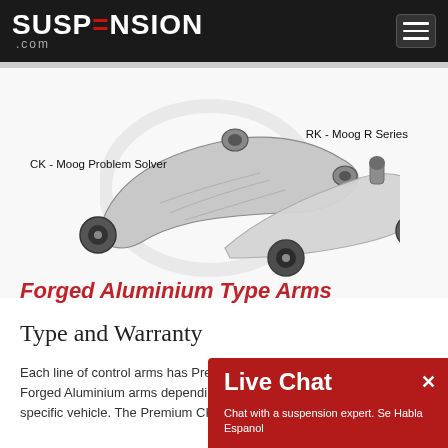SUSP=NSION .com
[Figure (photo): Two forged aluminium control arms side by side. Left arm labeled CK - Moog Problem Solver, right arm labeled RK - Moog R Series. Background has faint circular logo watermark.]
CK - Moog Problem Solver
RK - Moog R Series
Forged Aluminium Type Arms
Type and Warranty
Each line of control arms has Premium Pressed Steel, or Forged Aluminium arms depending on the style for your specific vehicle. The Premium CK line has a limited lifetime
[Figure (screenshot): Live Chat overlay popup in dark red. Title: Live Chat. Subtitle: Chat with a suspension expert. Se Habla Espanol. Close X button top right.]